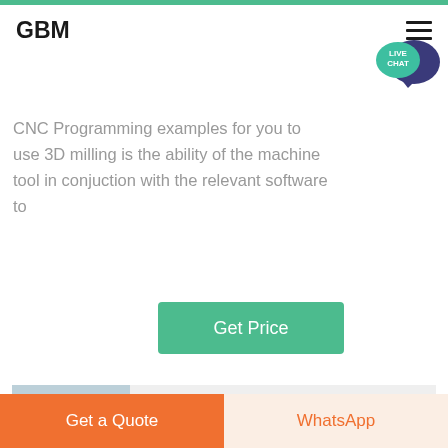GBM
CNC Programming examples for you to use 3D milling is the ability of the machine tool in conjuction with the relevant software to
Get Price
[Figure (photo): Industrial facility with crane/conveyor structure, snowy outdoor scene]
INTERMEDIATE CNC MILLING MULTI AXIS
2019 8 6 INTERMEDIATE CNC MILLING
Get a Quote
WhatsApp